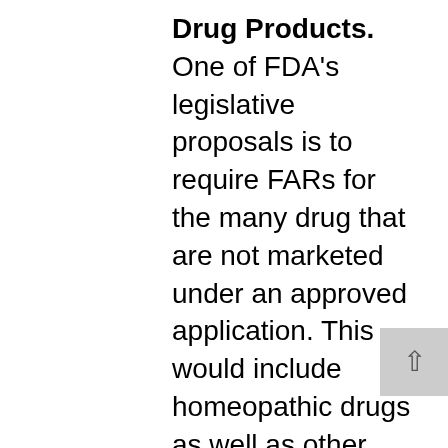Drug Products. One of FDA's legislative proposals is to require FARs for the many drug that are not marketed under an approved application. This would include homeopathic drugs as well as other drugs. These reports are part of an early warning system to protect patient health and the quality of therapeutic products.AAHP supports improvements to protect public health and views this as a way to improve the safety of homeopathic medicine. Homeopathic manufacturers are encouraged to learn about and understand these requirements.